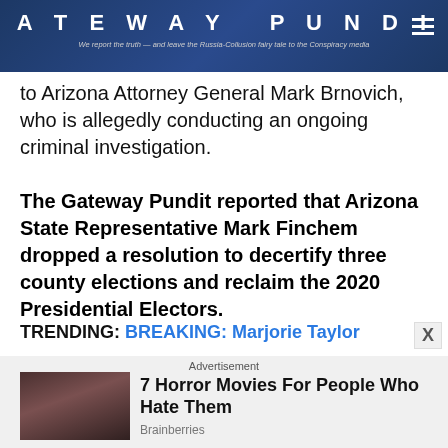GATEWAY PUNDIT — We report the truth — and leave the Russia-Collusion fairy tale to the Conspiracy media
to Arizona Attorney General Mark Brnovich, who is allegedly conducting an ongoing criminal investigation.
The Gateway Pundit reported that Arizona State Representative Mark Finchem dropped a resolution to decertify three county elections and reclaim the 2020 Presidential Electors.
TRENDING: BREAKING: Marjorie Taylor
[Figure (screenshot): Advertisement banner showing horror movie promotion: '7 Horror Movies For People Who Hate Them' from Brainberries, with a dark atmospheric movie still image on the left.]